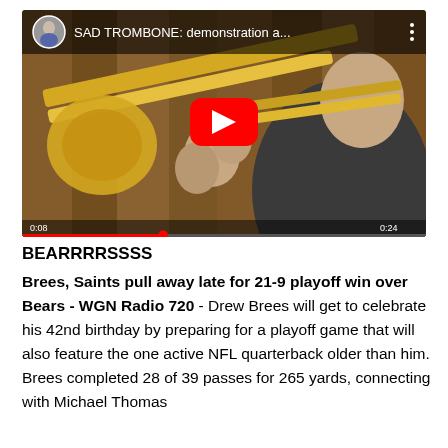[Figure (screenshot): YouTube video thumbnail showing a person playing a trombone with a red YouTube play button overlay. The video title reads 'SAD TROMBONE: demonstration a...' with a small channel avatar in the top left corner and a three-dot menu in the top right.]
BEARRRRSSSS
Brees, Saints pull away late for 21-9 playoff win over Bears - WGN Radio 720 - Drew Brees will get to celebrate his 42nd birthday by preparing for a playoff game that will also feature the one active NFL quarterback older than him. Brees completed 28 of 39 passes for 265 yards, connecting with Michael Thomas